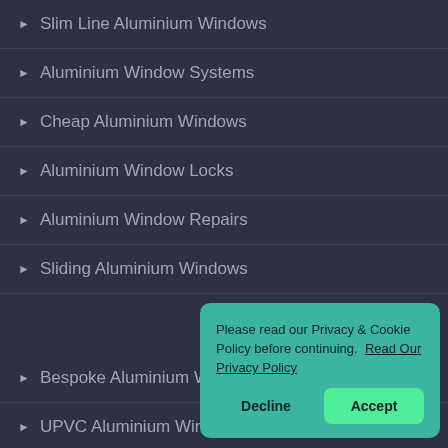Slim Line Aluminium Windows
Aluminium Window Systems
Cheap Aluminium Windows
Aluminium Window Locks
Aluminium Window Repairs
Sliding Aluminium Windows
Bespoke Aluminium Windows
UPVC Aluminium Windows
Please read our Privacy & Cookie Policy before continuing.  Read Our Privacy Policy
Decline
Accept